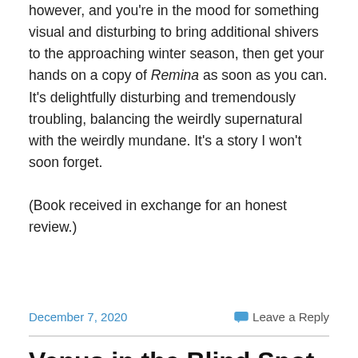however, and you're in the mood for something visual and disturbing to bring additional shivers to the approaching winter season, then get your hands on a copy of Remina as soon as you can. It's delightfully disturbing and tremendously troubling, balancing the weirdly supernatural with the weirdly mundane. It's a story I won't soon forget.
(Book received in exchange for an honest review.)
December 7, 2020
Leave a Reply
Venus in the Blind Spot, by Junji Ito
[Figure (photo): Book cover image for Venus in the Blind Spot by Junji Ito, showing text 'JUNJI' on a dark textured background]